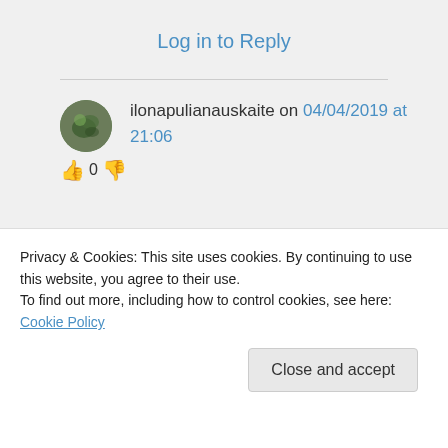Log in to Reply
ilonapulianauskaite on 04/04/2019 at 21:06
👍 0 👎
Privacy & Cookies: This site uses cookies. By continuing to use this website, you agree to their use.
To find out more, including how to control cookies, see here: Cookie Policy
Close and accept
God